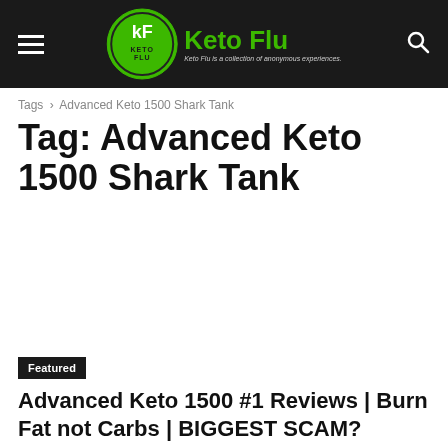Keto Flu
Tags › Advanced Keto 1500 Shark Tank
Tag: Advanced Keto 1500 Shark Tank
[Figure (other): Empty white advertisement/content area]
Featured
Advanced Keto 1500 #1 Reviews | Burn Fat not Carbs | BIGGEST SCAM?